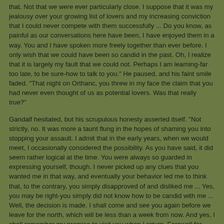that. Not that we were ever particularly close. I suppose that it was my jealousy over your growing list of lovers and my increasing conviction that I could never compete with them successfully ... Do you know, as painful as our conversations here have been, I have enjoyed them in a way. You and I have spoken more freely together than ever before. I only wish that we could have been so candid in the past. Oh, I realize that it is largely my fault that we could not. Perhaps I am learning-far too late, to be sure-how to talk to you." He paused, and his faint smile faded. "That night on Orthanc, you threw in my face the claim that you had never even thought of us as potential lovers. Was that really true?"
Gandalf hesitated, but his scrupulous honesty asserted itself. "Not strictly, no. It was more a taunt flung in the hopes of shaming you into stopping your assault. I admit that in the early years, when we would meet, I occasionally considered the possibility. As you have said, it did seem rather logical at the time. You were always so guarded in expressing yourself, though. I never picked up any clues that you wanted me in that way, and eventually your behavior led me to think that, to the contrary, you simply disapproved of and disliked me ... Yes, you may be right-you simply did not know how to be candid with me ... Well, the decision is made. I shall come and see you again before we leave for the north, which will be less than a week from now. And yes, I shall remember my promise to visit you when I return. Farewell for now, Saruman." He hesitated as he began to turn toward the door. "Perhaps I have learned to have a little pity for you. Not that it would lead me to change my decision regarding what is to be done with you. But, yes, I can almost imagine enjoying talking with you, long ago, if things had happened differently. If not lovers, we could at least have been